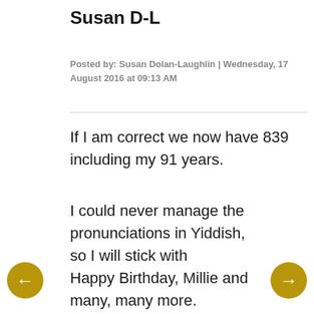Susan D-L
Posted by: Susan Dolan-Laughlin | Wednesday, 17 August 2016 at 09:13 AM
If I am correct we now have 839 including my 91 years.
I could never manage the pronunciations in Yiddish, so I will stick with
Happy Birthday, Millie and many, many more.